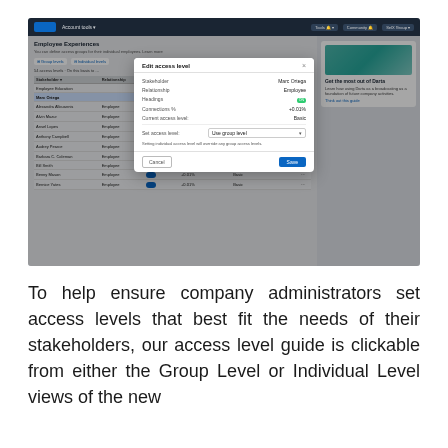[Figure (screenshot): Screenshot of a LinkedIn or similar professional platform showing an 'Edit access level' modal dialog. The modal displays fields: Stakeholder (Marc Ortega), Relationship (Employee), Headings (ON badge), Connections % (a value), Current access level (Basic), Set access level (dropdown showing 'Use group level'). The background shows a table listing employees/stakeholders with columns for name, relationship, headings, connections, access level, and actions. A right sidebar shows a promo box. Modal has Cancel and Save buttons.]
To help ensure company administrators set access levels that best fit the needs of their stakeholders, our access level guide is clickable from either the Group Level or Individual Level views of the new